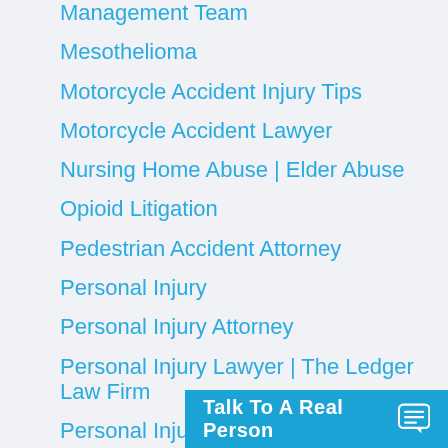Management Team
Mesothelioma
Motorcycle Accident Injury Tips
Motorcycle Accident Lawyer
Nursing Home Abuse | Elder Abuse
Opioid Litigation
Pedestrian Accident Attorney
Personal Injury
Personal Injury Attorney
Personal Injury Lawyer | The Ledger Law Firm
Personal Injury Settlements Tips
Product Liability Lawyer
Rancho Mirage Ac...